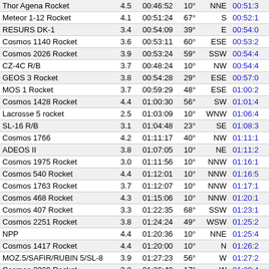| Thor Agena Rocket | 4.5 | 00:46:52 | 10° | NNE | 00:51:3 |
| Meteor 1-12 Rocket | 4.1 | 00:51:24 | 67° | S | 00:52:1 |
| RESURS DK-1 | 3.4 | 00:54:09 | 39° | E | 00:54:0 |
| Cosmos 1140 Rocket | 3.6 | 00:53:11 | 60° | ESE | 00:53:2 |
| Cosmos 2026 Rocket | 3.9 | 00:53:24 | 59° | SSW | 00:54:4 |
| CZ-4C R/B | 3.7 | 00:48:24 | 10° | NW | 00:54:4 |
| GEOS 3 Rocket | 3.8 | 00:54:28 | 29° | ESE | 00:57:0 |
| MOS 1 Rocket | 3.7 | 00:59:29 | 48° | ESE | 01:00:2 |
| Cosmos 1428 Rocket | 4.4 | 01:00:30 | 56° | SW | 01:01:4 |
| Lacrosse 5 rocket | 2.5 | 01:03:09 | 10° | WNW | 01:06:4 |
| SL-16 R/B | 3.1 | 01:04:48 | 23° | SE | 01:08:3 |
| Cosmos 1766 | 4.2 | 01:11:17 | 40° | NW | 01:11:1 |
| ADEOS II | 3.8 | 01:07:05 | 10° | NE | 01:11:2 |
| Cosmos 1975 Rocket | 3.0 | 01:11:56 | 10° | NNW | 01:16:1 |
| Cosmos 540 Rocket | 4.4 | 01:12:01 | 10° | NNW | 01:16:5 |
| Cosmos 1763 Rocket | 3.7 | 01:12:07 | 10° | NNW | 01:17:1 |
| Cosmos 468 Rocket | 4.3 | 01:15:06 | 10° | NNW | 01:20:1 |
| Cosmos 407 Rocket | 3.3 | 01:22:35 | 68° | SSW | 01:23:1 |
| Cosmos 2251 Rocket | 3.8 | 01:24:24 | 49° | WSW | 01:25:2 |
| NPP | 4.4 | 01:20:36 | 10° | NNE | 01:25:4 |
| Cosmos 1417 Rocket | 4.4 | 01:20:00 | 10° | N | 01:26:2 |
| MOZ.5/SAFIR/RUBIN 5/SL-8 | 3.9 | 01:27:23 | 56° | W | 01:27:2 |
| Cosmos 2369 Rocket | 3.8 | 01:26:40 | 17° | W | 01:29:4 |